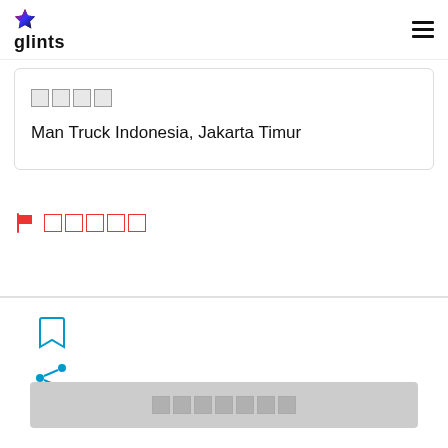glints
[blocked text] Man Truck Indonesia, Jakarta Timur
[flag icon] [blocked text]
[Figure (illustration): Bookmark icon (outline)]
[Figure (illustration): Share icon (blue)]
[blocked button text]